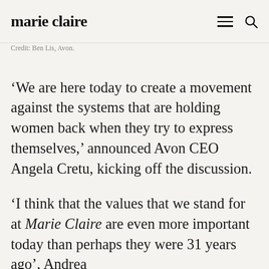marie claire
Credit: Ben Lis, Avon.
‘We are here today to create a movement against the systems that are holding women back when they try to express themselves,’ announced Avon CEO Angela Cretu, kicking off the discussion.
‘I think that the values that we stand for at Marie Claire are even more important today than perhaps they were 31 years ago’, Andrea